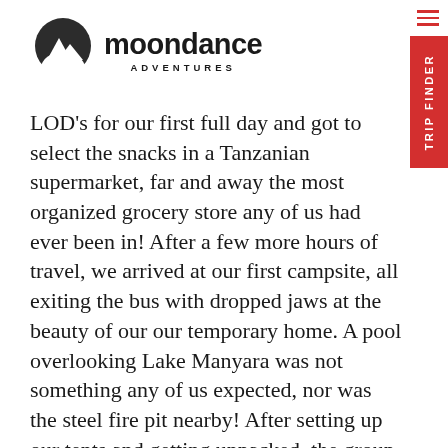[Figure (logo): Moondance Adventures logo with mountain/moon icon and text 'moondance ADVENTURES']
LOD's for our first full day and got to select the snacks in a Tanzanian supermarket, far and away the most organized grocery store any of us had ever been in! After a few more hours of travel, we arrived at our first campsite, all exiting the bus with dropped jaws at the beauty of our our temporary home. A pool overlooking Lake Manyara was not something any of us expected, nor was the steel fire pit nearby! After setting up our tents and getting unpacked, the group enjoyed some food and pool time! Julian showed off his aquatic nature, demonstrating perfect kick-turn technique and smoking everyone in swimming races. We spent